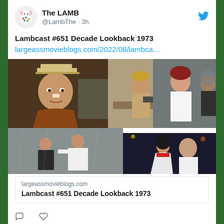[Figure (screenshot): Twitter/social media feed screenshot showing a tweet from The LAMB (@LambThe) posted 3 hours ago about Lambcast #651 Decade Lookback 1973 with a link to largeassmovieblogs.com and a collage of movie stills from 1973 films]
The LAMB @LambThe · 3h
Lambcast #651 Decade Lookback 1973 largeassmovieblogs.com/2022/08/lambca...
largeassmovieblogs.com
Lambcast #651 Decade Lookback 1973
The LAMB (partial second tweet)